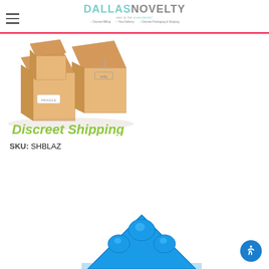DALLASNOVELTY — sex is for everybody! Discreet Billing | Fast Delivery | Discreet Packaging & Shipping
[Figure (illustration): Discreet Shipping banner image: cardboard boxes with FRAGILE label and green italic text 'Discreet Shipping']
SKU: SHBLAZ
[Figure (photo): Blue silicone product (triangular shape with bumps) partially visible at bottom of page]